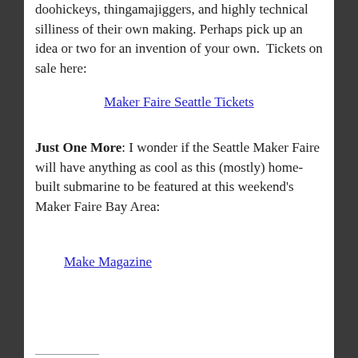doohickeys, thingamajiggers, and highly technical silliness of their own making. Perhaps pick up an idea or two for an invention of your own.  Tickets on sale here:
Maker Faire Seattle Tickets
Just One More: I wonder if the Seattle Maker Faire will have anything as cool as this (mostly) home-built submarine to be featured at this weekend's Maker Faire Bay Area:
Make Magazine